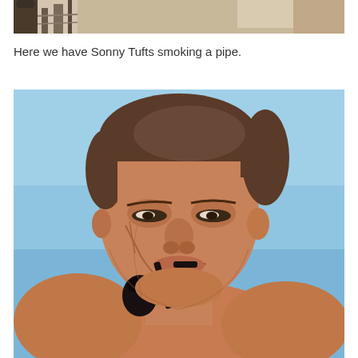[Figure (photo): Partial photo at top of page showing what appears to be a porch or outdoor structure with figures, cropped — only the bottom portion visible.]
Here we have Sonny Tufts smoking a pipe.
[Figure (photo): Color photo of Sonny Tufts, a middle-aged man with brown hair, shirtless, smoking a pipe, against a light blue sky background. He is squinting/smiling slightly.]